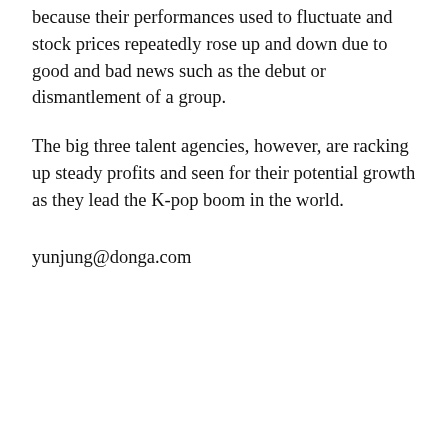because their performances used to fluctuate and stock prices repeatedly rose up and down due to good and bad news such as the debut or dismantlement of a group.
The big three talent agencies, however, are racking up steady profits and seen for their potential growth as they lead the K-pop boom in the world.
yunjung@donga.com